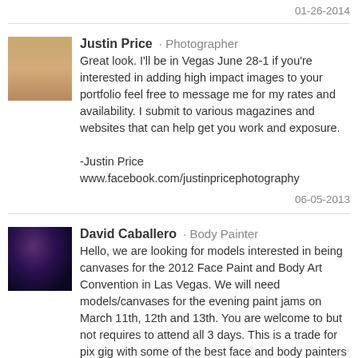01-26-2014
Justin Price · Photographer
Great look. I'll be in Vegas June 28-1 if you're interested in adding high impact images to your portfolio feel free to message me for my rates and availability. I submit to various magazines and websites that can help get you work and exposure.

-Justin Price
www.facebook.com/justinpricephotography
06-05-2013
David Caballero · Body Painter
Hello, we are looking for models interested in being canvases for the 2012 Face Paint and Body Art Convention in Las Vegas. We will need models/canvases for the evening paint jams on March 11th, 12th and 13th. You are welcome to but not requires to attend all 3 days. This is a trade for pix gig with some of the best face and body painters in the county. See my casting call for more details. I hope you